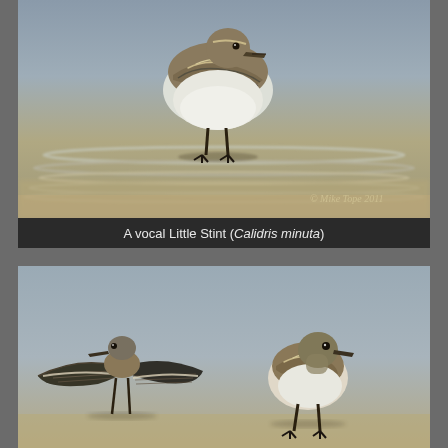[Figure (photo): Close-up photograph of a Little Stint (Calidris minuta) shorebird standing in shallow water on a sandy/muddy flat. The bird has mottled brown-grey plumage on the back and white underparts. The background shows blurred water with sandy ripples. A watermark reads '© Mike Tope 2011' in the lower right corner.]
A vocal Little Stint (Calidris minuta)
[Figure (photo): Photograph of two Little Stints (Calidris minuta) on a sandy flat. The left bird has its wings spread open, displaying dark wing feathers with pale edges. The right bird stands upright appearing to face left. Blurred grey background suggests a water/mudflat environment.]